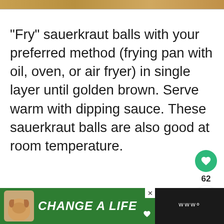[Figure (photo): Top strip showing a partial food photo (sauerkraut balls or similar golden-brown food)]
"Fry" sauerkraut balls with your preferred method (frying pan with oil, oven, or air fryer) in single layer until golden brown. Serve warm with dipping sauce. These sauerkraut balls are also good at room temperature.
[Figure (infographic): Green circular like/heart button, like count '62', and share button on the right side]
[Figure (photo): Bottom advertisement banner: dark background with green section showing a dog image and text 'CHANGE A LIFE', with close button and right-side app icon]